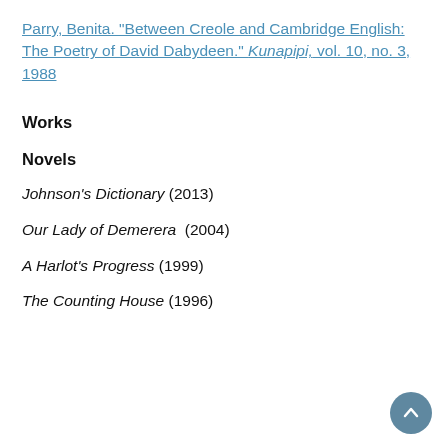Parry, Benita. "Between Creole and Cambridge English: The Poetry of David Dabydeen." Kunapipi, vol. 10, no. 3, 1988
Works
Novels
Johnson's Dictionary (2013)
Our Lady of Demerera  (2004)
A Harlot's Progress (1999)
The Counting House (1996)